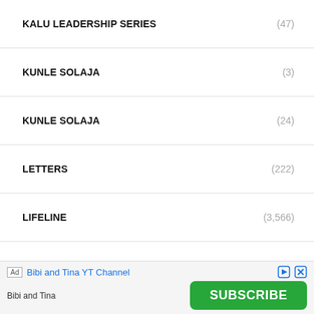KALU LEADERSHIP SERIES (47)
KUNLE SOLAJA (3)
KUNLE SOLAJA (24)
LETTERS (222)
LIFELINE (3,566)
LIFESTYLE (1,169)
LITERARY REVIEW (1,136)
MARKETING MATTERS (66)
MUIZ BANIRE (124)
NATIONAL (129,529)
[Figure (screenshot): Ad banner: 'Bibi and Tina YT Channel' with Subscribe button]